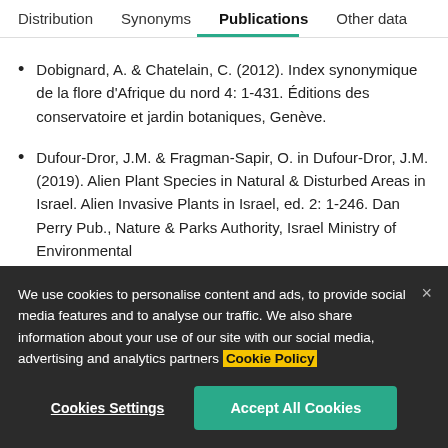Distribution  Synonyms  Publications  Other data
Dobignard, A. & Chatelain, C. (2012). Index synonymique de la flore d'Afrique du nord 4: 1-431. Éditions des conservatoire et jardin botaniques, Genève.
Dufour-Dror, J.M. & Fragman-Sapir, O. in Dufour-Dror, J.M. (2019). Alien Plant Species in Natural & Disturbed Areas in Israel. Alien Invasive Plants in Israel, ed. 2: 1-246. Dan Perry Pub., Nature & Parks Authority, Israel Ministry of Environmental
We use cookies to personalise content and ads, to provide social media features and to analyse our traffic. We also share information about your use of our site with our social media, advertising and analytics partners Cookie Policy
Cookies Settings  Accept All Cookies